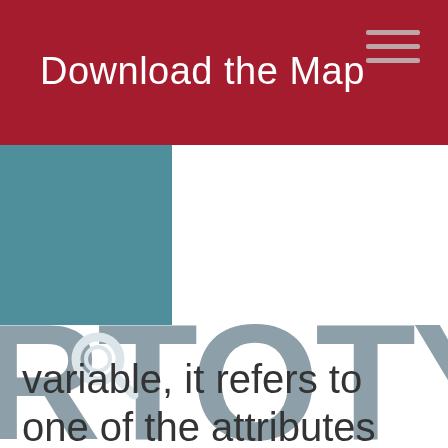Download the Map
[Figure (logo): RTOTY logo with teal square background and magnifying glass search icon, partial view showing letters RTOTY in large gray text]
variable, it refers to one of the attributes